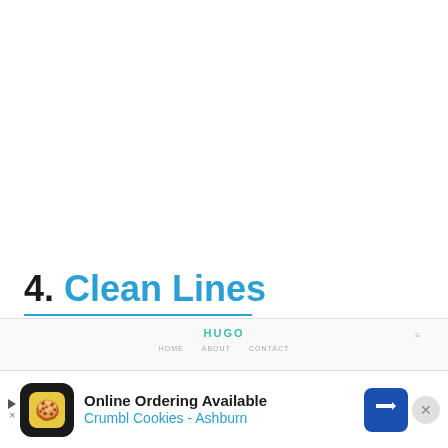4. Clean Lines
[Figure (screenshot): Screenshot of a Hugo website theme showing 'HUGO' logo in teal/green text centered at top, with navigation menu links below, and three product images (dark t-shirt, black watch, dark beanie) displayed as thumbnails]
[Figure (infographic): Advertisement banner at the bottom: Crumbl Cookies ad with cookie icon, text 'Online Ordering Available' and 'Crumbl Cookies - Ashburn', a blue directional sign arrow icon, and a close (X) button]